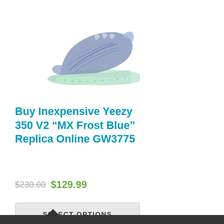[Figure (photo): Adidas Yeezy 350 V2 MX Frost Blue sneaker shown from side angle with blue marbled upper and light green sole]
Buy Inexpensive Yeezy 350 V2 “MX Frost Blue” Replica Online GW3775
$230.00 $129.99
SELECT OPTIONS